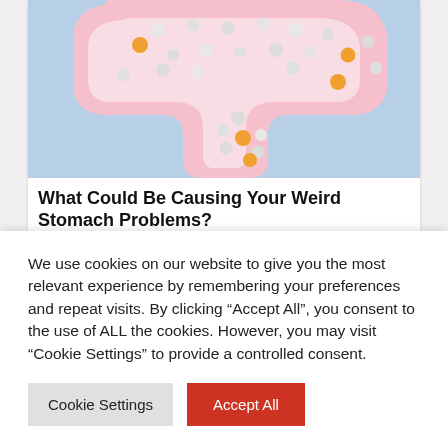[Figure (photo): Pink paper cutout of intestines/colon shaped figure on a light blue background, decorated with white and orange/yellow pill capsules arranged across the surface.]
What Could Be Causing Your Weird Stomach Problems?
Self
We use cookies on our website to give you the most relevant experience by remembering your preferences and repeat visits. By clicking “Accept All”, you consent to the use of ALL the cookies. However, you may visit "Cookie Settings" to provide a controlled consent.